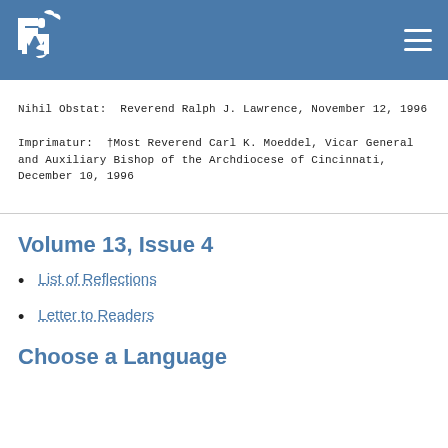[Figure (logo): PM logo with bird/leaf motif in white on blue background]
Nihil Obstat:  Reverend Ralph J. Lawrence, November 12, 1996
Imprimatur:  †Most Reverend Carl K. Moeddel, Vicar General and Auxiliary Bishop of the Archdiocese of Cincinnati, December 10, 1996
Volume 13, Issue 4
List of Reflections
Letter to Readers
Choose a Language